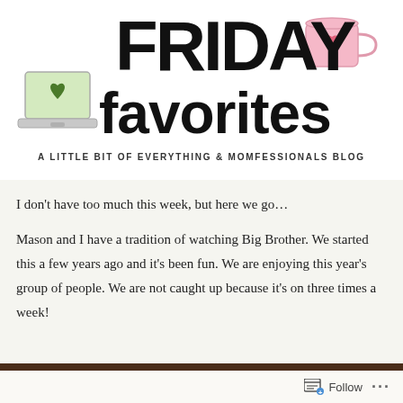[Figure (illustration): Friday Favorites blog logo with 'FRIDAY favorites' in large bold black hand-lettered font, a pink mug with a heart top right, a green laptop with a heart bottom left, and subtitle 'A LITTLE BIT OF EVERYTHING & MOMFESSIONALS BLOG']
I don't have too much this week, but here we go…
Mason and I have a tradition of watching Big Brother. We started this a few years ago and it's been fun. We are enjoying this year's group of people. We are not caught up because it's on three times a week!
Follow ···